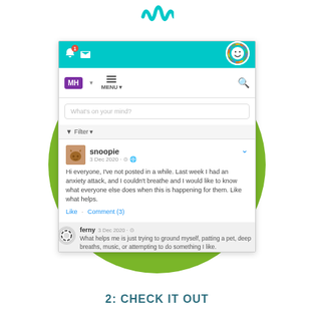[Figure (screenshot): Mobile app screenshot of a mental health forum showing a post by 'snoopie' dated 3 Dec 2020 asking about anxiety attacks, with a comment by 'ferny' about grounding techniques. The app has a teal top bar with notification icons and a rainbow avatar icon, a purple MH badge, menu, search bar, filter option, and a post with Like and Comment(3) actions.]
2: CHECK IT OUT